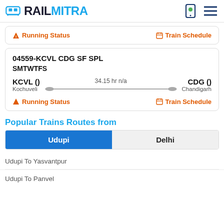RAILMITRA
Running Status | Train Schedule
04559-KCVL CDG SF SPL
SMTWTFS
KCVL () Kochuveli — 34.15 hr n/a — CDG () Chandigarh
Running Status | Train Schedule
Popular Trains Routes from
Udupi | Delhi
Udupi To Yasvantpur
Udupi To Panvel